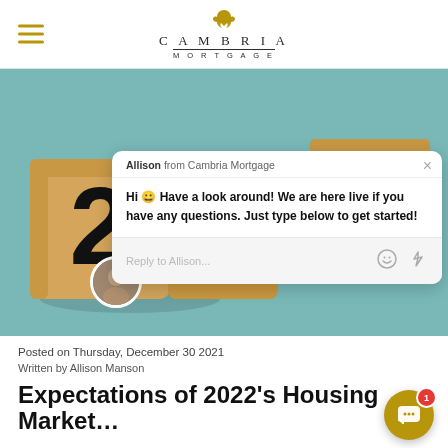Cambria Mortgage
[Figure (photo): Wooden blocks spelling out 2022, teal background, with a live chat popup overlay from Allison at Cambria Mortgage saying 'Hi 😀 Have a look around! We are here live if you have any questions. Just type below to get started!' and a reply input box.]
Posted on Thursday, December 30 2021
Written by Allison Manson
Expectations of 2022's Housing Market…